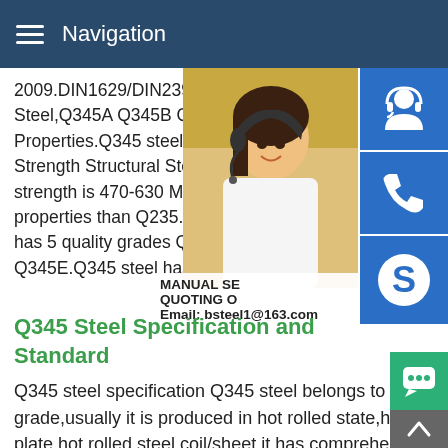Navigation
2009.DIN1629/DIN2391 / EN 10305-1.Col Steel,Q345A Q345B Q345C Q345D Q345 Properties.Q345 steel is a Chinese GB sta Strength Structural Steel,material density i strength is 470-630 Mpa,and yield strength properties than Q235.According to GB/T 1 has 5 quality grades Q345A,Q345B,Q345 Q345E.Q345 steel has good weldability,co
[Figure (photo): Woman with headset (customer service representative) with blue icon buttons for customer service, phone, and Skype on the right side. Manual service and quoting overlay with email bsteel1@163.com]
Q345 Steel Specification and Standard
Q345 steel specification Q345 steel belongs to 16Mn steel grade,usually it is produced in hot rolled state,hot rolled steel plate,hot rolled steel coil/sheet,it has comprehensive mechanic and welding property,as it shows good performance in structu purposes,it is widely used as welding structural part in